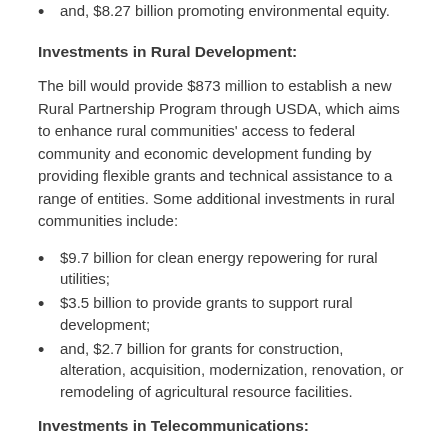and, $8.27 billion promoting environmental equity.
Investments in Rural Development:
The bill would provide $873 million to establish a new Rural Partnership Program through USDA, which aims to enhance rural communities' access to federal community and economic development funding by providing flexible grants and technical assistance to a range of entities. Some additional investments in rural communities include:
$9.7 billion for clean energy repowering for rural utilities;
$3.5 billion to provide grants to support rural development;
and, $2.7 billion for grants for construction, alteration, acquisition, modernization, renovation, or remodeling of agricultural resource facilities.
Investments in Telecommunications: